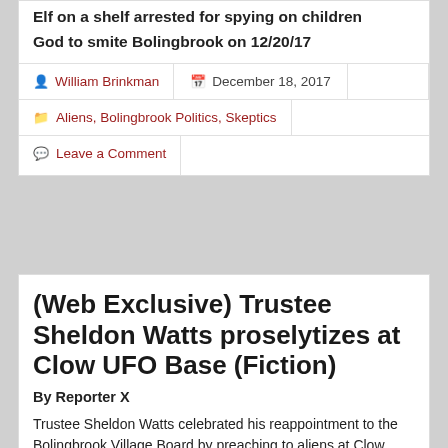Elf on a shelf arrested for spying on children
God to smite Bolingbrook on 12/20/17
William Brinkman   December 18, 2017
Aliens, Bolingbrook Politics, Skeptics
Leave a Comment
(Web Exclusive) Trustee Sheldon Watts proselytizes at Clow UFO Base (Fiction)
By Reporter X
Trustee Sheldon Watts celebrated his reappointment to the Bolingbrook Village Board by preaching to aliens at Clow UFO Base.